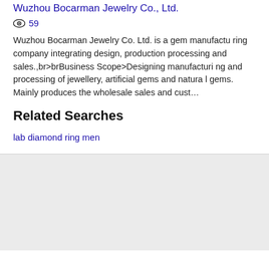Wuzhou Bocarman Jewelry Co., Ltd.
👁 59
Wuzhou Bocarman Jewelry Co. Ltd. is a gem manufacturing company integrating design, production processing and sales.,br>brBusiness Scope>Designing manufacturing and processing of jewellery, artificial gems and natural gems. Mainly produces the wholesale sales and cust...
Related Searches
lab diamond ring men